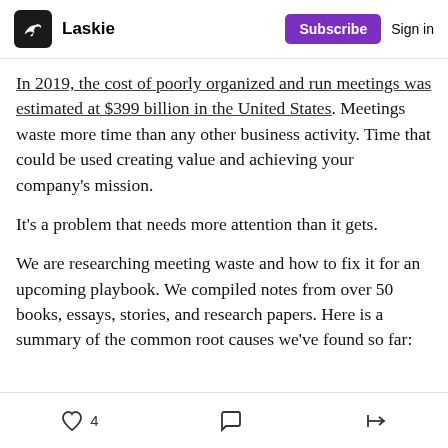Laskie | Subscribe | Sign in
In 2019, the cost of poorly organized and run meetings was estimated at $399 billion in the United States. Meetings waste more time than any other business activity. Time that could be used creating value and achieving your company's mission.
It's a problem that needs more attention than it gets.
We are researching meeting waste and how to fix it for an upcoming playbook. We compiled notes from over 50 books, essays, stories, and research papers. Here is a summary of the common root causes we've found so far:
4 likes | comment | share